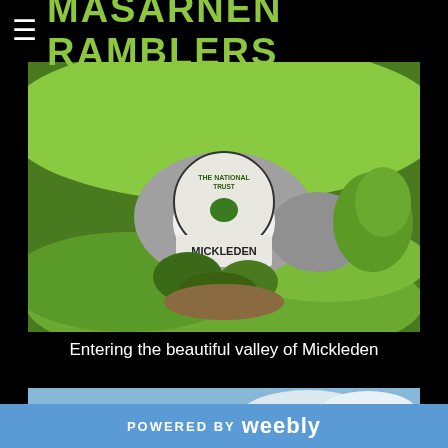MASARNEN RAMBLERS
[Figure (photo): A National Trust stone sign for Mickleden, set against a grassy hillside with green vegetation surrounding it.]
Entering the beautiful valley of Mickleden
[Figure (photo): A sky scene with blue sky and white clouds, partially showing a landscape below.]
POWERED BY weebly